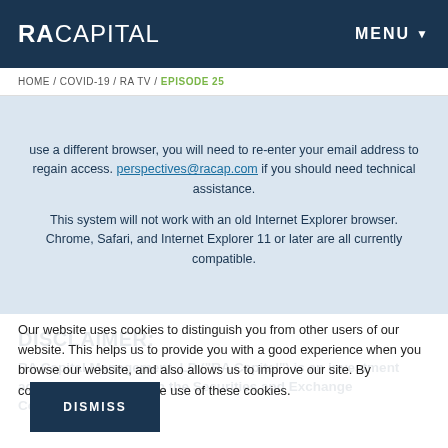RA CAPITAL | MENU
HOME / COVID-19 / RA TV / EPISODE 25
use a different browser, you will need to re-enter your email address to regain access. perspectives@racap.com if you should need technical assistance.
This system will not work with an old Internet Explorer browser. Chrome, Safari, and Internet Explorer 11 or later are all currently compatible.
DISCLAIMER:
RA Capital Management, LP (“RA Capital”) is an investment adviser registered with the Securities and Exchange Commission
Our website uses cookies to distinguish you from other users of our website. This helps us to provide you with a good experience when you browse our website, and also allows us to improve our site. By continuing, you accept the use of these cookies.
DISMISS